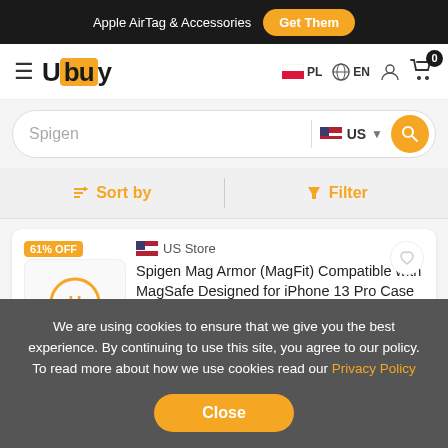Apple AirTag & Accessories  Get Them
[Figure (logo): Ubuy logo with orange background square]
PL  EN  (user icon)  (cart icon) 0
Spigen  US (search)
Sort by  |  Filter
[Figure (other): Product thumbnail placeholder with Ubuy logo, 61% OFF badge]
US Store
Spigen Mag Armor (MagFit) Compatible with MagSafe Designed for iPhone 13 Pro Case (2020)
PLN 141  285
We are using cookies to ensure that we give you the best experience. By continuing to use this site, you agree to our policy. To read more about how we use cookies read our Privacy Policy
Close